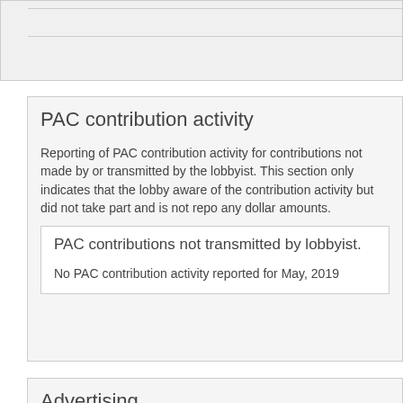PAC contribution activity
Reporting of PAC contribution activity for contributions not made by or transmitted by the lobbyist. This section only indicates that the lobbyist is aware of the contribution activity but did not take part and is not reporting any dollar amounts.
PAC contributions not transmitted by lobbyist.
No PAC contribution activity reported for May, 2019
Advertising
Itemized reporting of expenses for advertising, printing, informational literature.
Advertising.